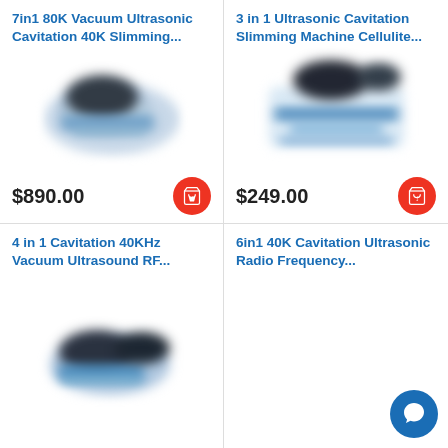7in1 80K Vacuum Ultrasonic Cavitation 40K Slimming...
[Figure (photo): Blurred product photo of ultrasonic cavitation slimming machine, blue and white device]
$890.00
3 in 1 Ultrasonic Cavitation Slimming Machine Cellulite...
[Figure (photo): Blurred product photo of 3-in-1 ultrasonic cavitation slimming machine, white and blue]
$249.00
4 in 1 Cavitation 40KHz Vacuum Ultrasound RF...
[Figure (photo): Blurred product photo of 4-in-1 cavitation vacuum ultrasound RF machine]
6in1 40K Cavitation Ultrasonic Radio Frequency...